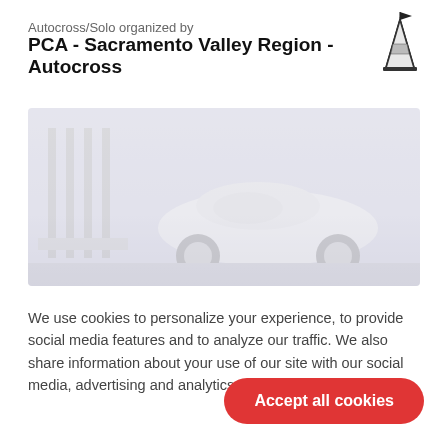Autocross/Solo organized by
PCA - Sacramento Valley Region - Autocross
[Figure (logo): Traffic cone / pylon logo icon in black and white]
[Figure (photo): Faded/washed-out photo of a white sports car (Porsche) at an autocross event]
We use cookies to personalize your experience, to provide social media features and to analyze our traffic. We also share information about your use of our site with our social media, advertising and analytics partners. Cookie Settings
Accept all cookies